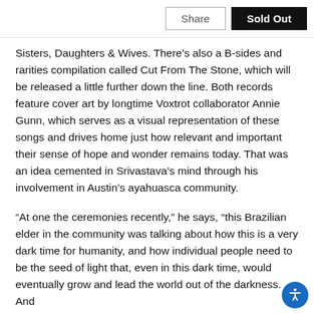Share | Sold Out
Sisters, Daughters & Wives. There’s also a B-sides and rarities compilation called Cut From The Stone, which will be released a little further down the line. Both records feature cover art by longtime Voxtrot collaborator Annie Gunn, which serves as a visual representation of these songs and drives home just how relevant and important their sense of hope and wonder remains today. That was an idea cemented in Srivastava’s mind through his involvement in Austin’s ayahuasca community.
“At one the ceremonies recently,” he says, “this Brazilian elder in the community was talking about how this is a very dark time for humanity, and how individual people need to be the seed of light that, even in this dark time, would eventually grow and lead the world out of the darkness. And like the idea of being in that light for whatever...